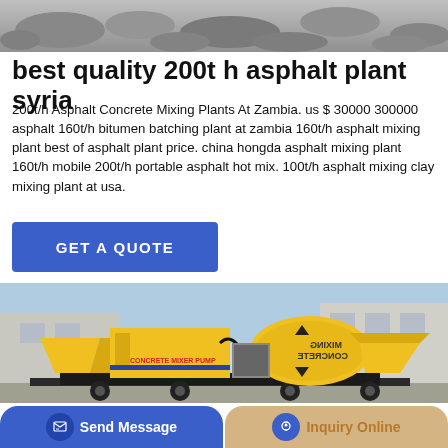[Figure (photo): Top portion of a rocky or gravelly outdoor scene, partially cropped]
best quality 200t h asphalt plant syria
200t/h Asphalt Concrete Mixing Plants At Zambia. us $ 30000 300000 asphalt 160t/h bitumen batching plant at zambia 160t/h asphalt mixing plant best of asphalt plant price. china hongda asphalt mixing plant 160t/h mobile 200t/h portable asphalt hot mix. 100t/h asphalt mixing clay mixing plant at usa.
[Figure (other): Blue GET A QUOTE button]
[Figure (photo): Yellow concrete mixer pump machine on a trailer in an industrial yard]
[Figure (other): Bottom navigation bar with Send Message and Inquiry Online buttons]